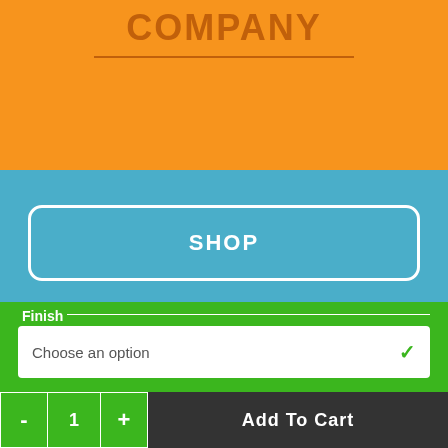COMPANY
SHOP
MY ACCOUNT
Finish
Choose an option
- 1 + Add To Cart